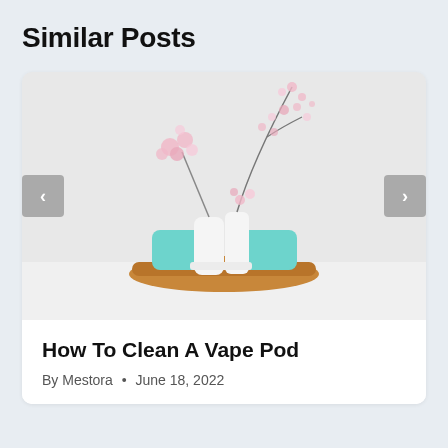Similar Posts
[Figure (photo): A minimalist photo showing two white ceramic vases with pink spring blossoms and cherry branch on a wooden tray, with teal/turquoise chairs in the background against a white wall. Navigation arrows (< >) are overlaid on left and right sides of the image.]
How To Clean A Vape Pod
By Mestora • June 18, 2022